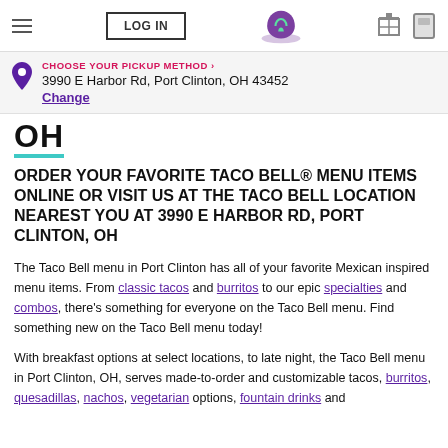LOG IN | Taco Bell Logo | Gift icon | Card icon
CHOOSE YOUR PICKUP METHOD › 3990 E Harbor Rd, Port Clinton, OH 43452 Change
OH
ORDER YOUR FAVORITE TACO BELL® MENU ITEMS ONLINE OR VISIT US AT THE TACO BELL LOCATION NEAREST YOU AT 3990 E HARBOR RD, PORT CLINTON, OH
The Taco Bell menu in Port Clinton has all of your favorite Mexican inspired menu items. From classic tacos and burritos to our epic specialties and combos, there's something for everyone on the Taco Bell menu. Find something new on the Taco Bell menu today!
With breakfast options at select locations, to late night, the Taco Bell menu in Port Clinton, OH, serves made-to-order and customizable tacos, burritos, quesadillas, nachos, vegetarian options, fountain drinks and